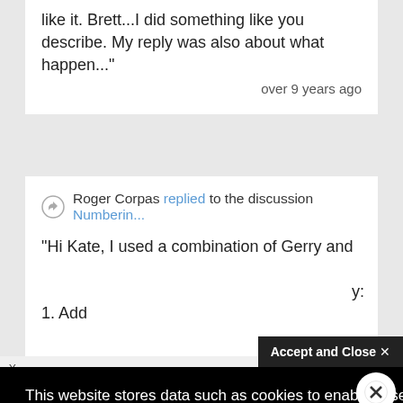like it. Brett...I did something like you describe. My reply was also about what happen..."
over 9 years ago
Roger Corpas replied to the discussion Numberin...
"Hi Kate, I used a combination of Gerry and me y: 1. Add
ears ago
This website stores data such as cookies to enable essential site functionality, as well as marketing, personalization, and analytics. By remaining on this website you indicate your consent.
Privacy Notice
Accept and Close ✕
k on this page to allow t of this AdRoll tracking by clicking here. This message only appears once.